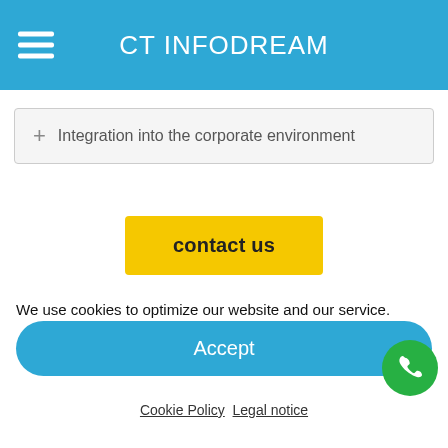CT INFODREAM
+ Integration into the corporate environment
contact us
We use cookies to optimize our website and our service.
Accept
Cookie Policy  Legal notice